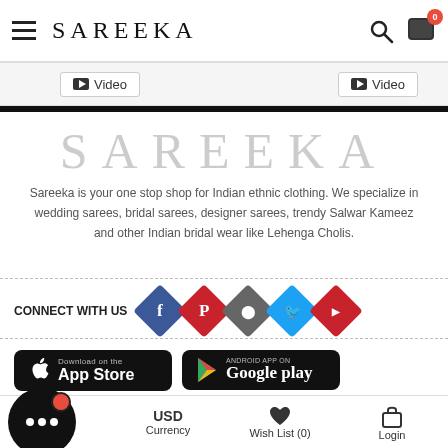SAREEKA
[Figure (screenshot): Video buttons strip with two YouTube video buttons]
[Figure (logo): Large SAREEKA brand logo in light gray serif font]
Sareeka is your one stop shop for Indian ethnic clothing. We specialize in wedding sarees, bridal sarees, designer sarees, trendy Salwar Kameez and other Indian bridal wear like Lehenga Cholis.
CONNECT WITH US
[Figure (infographic): Social media icons: Facebook, Pinterest, Instagram, Twitter, YouTube as colored diamond shapes]
[Figure (infographic): App Store and Google Play download buttons]
[Figure (infographic): Chat bubble icon with red notification dot]
Subscribe for Newsletter
Home | USD Currency | Wish List (0) | Login